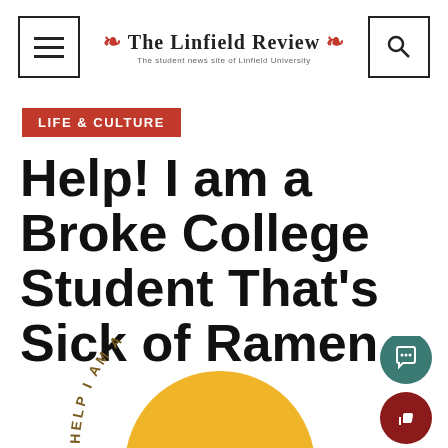The Linfield Review — The student news site of Linfield University
LIFE & CULTURE
Help! I am a Broke College Student That's Sick of Ramen
[Figure (illustration): Partial view of article thumbnail showing curved text 'HELP I AM A BRO...' with a yellow/orange circle, cropped at bottom of page]